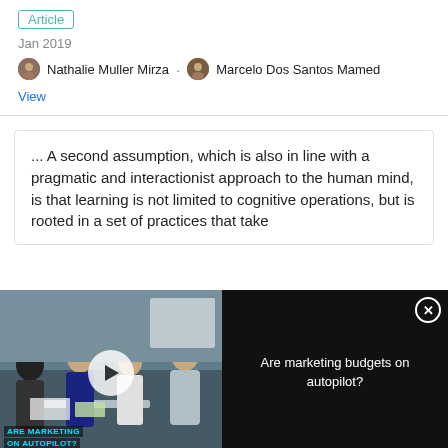Article
Jan 2019
Nathalie Muller Mirza · Marcelo Dos Santos Mamed
View
... A second assumption, which is also in line with a pragmatic and interactionist approach to the human mind, is that learning is not limited to cognitive operations, but is rooted in a set of practices that take
[Figure (screenshot): Ad overlay showing a video thumbnail of people in a meeting with text 'ARE MARKETING ... ON AUTOPILOT?' and play button, alongside dark panel with text 'Are marketing budgets on autopilot?' and close button]
[Figure (illustration): ThermoFisher Scientific promotional thumbnail showing scientific poster/gel images]
2D vs 3D PSC expansion and neural differentiations